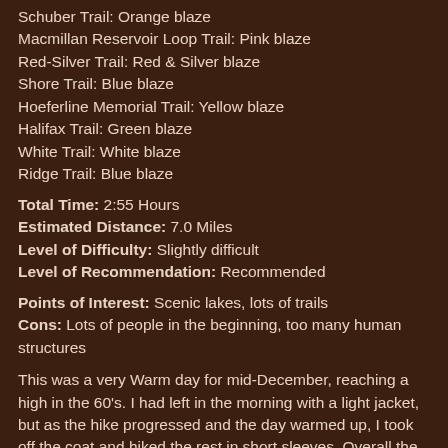Schuber Trail: Orange blaze
Macmillan Reservoir Loop Trail: Pink blaze
Red-Silver Trail: Red & Silver blaze
Shore Trail: Blue blaze
Hoeferline Memorial Trail: Yellow blaze
Halifax Trail: Green blaze
White Trail: White blaze
Ridge Trail: Blue blaze
Total Time: 2:55 Hours
Estimated Distance: 7.0 Miles
Level of Difficulty: Slightly difficult
Level of Recommendation: Recommended
Points of Interest: Scenic lakes, lots of trails
Cons: Lots of people in the beginning, too many human structures
This was a very Warm day for mid-December, reaching a high in the 60's. I had left in the morning with a light jacket, but as the hike progressed and the day warmed up, I took off the coat and hiked the rest in short sleeves. Overall the